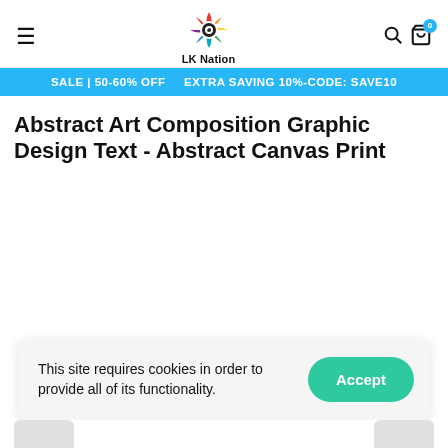LK Nation
SALE | 50-60% OFF   EXTRA SAVING 10%-CODE: SAVE10
Abstract Art Composition Graphic Design Text - Abstract Canvas Print
This site requires cookies in order to provide all of its functionality.
Accept